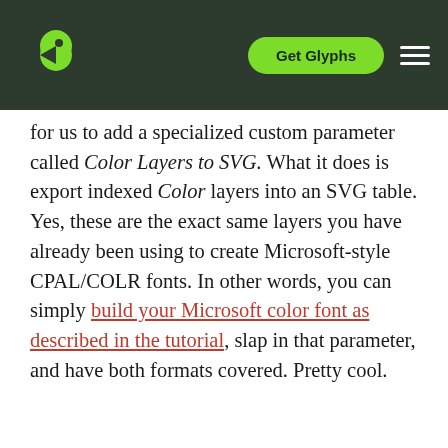Get Glyphs
for us to add a specialized custom parameter called Color Layers to SVG. What it does is export indexed Color layers into an SVG table. Yes, these are the exact same layers you have already been using to create Microsoft-style CPAL/COLR fonts. In other words, you can simply build your Microsoft color font as described in the tutorial, slap in that parameter, and have both formats covered. Pretty cool.